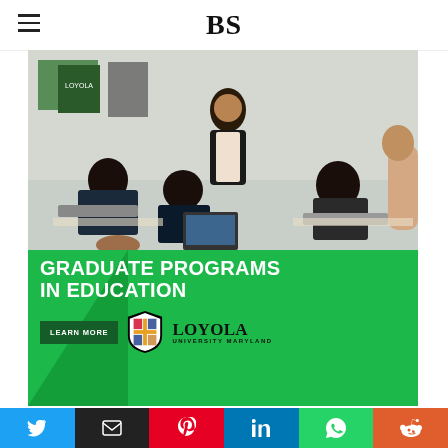BS
[Figure (photo): Advertisement banner for Loyola University Maryland Graduate Programs in Education featuring a classroom photo with a teacher and students, green background with text 'GRADUATE PROGRAMS IN EDUCATION', a 'LEARN MORE' button, Loyola shield logo, and 'LOYOLA UNIVERSITY MARYLAND' text.]
Homepage → Best Books